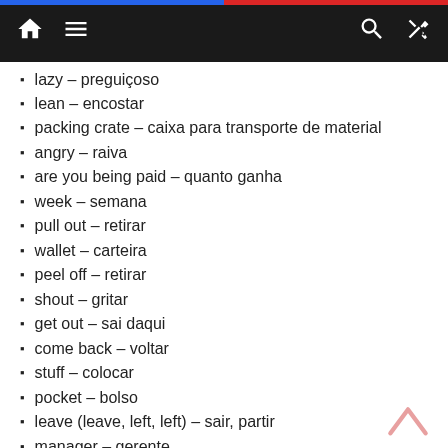Navigation bar with home, menu, search, and shuffle icons
lazy – preguiçoso
lean – encostar
packing crate – caixa para transporte de material
angry – raiva
are you being paid – quanto ganha
week – semana
pull out – retirar
wallet – carteira
peel off – retirar
shout – gritar
get out – sai daqui
come back – voltar
stuff – colocar
pocket – bolso
leave (leave, left, left) – sair, partir
manager – gerente
amazement – surpresa
boss – chefe
guy – sujeito
deliver – entregar